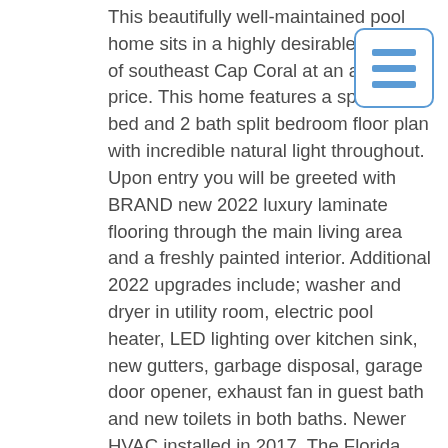This beautifully well-maintained pool home sits in a highly desirable section of southeast Cape Coral at an affordable price. This home features a spacious 3 bed and 2 bath split bedroom floor plan with incredible natural light throughout. Upon entry you will be greeted with BRAND new 2022 luxury laminate flooring through the main living area and a freshly painted interior. Additional 2022 upgrades include; washer and dryer in utility room, electric pool heater, LED lighting over kitchen sink, new gutters, garbage disposal, garage door opener, exhaust fan in guest bath and new toilets in both baths. Newer HVAC installed in 2017. The Florida room features two sets of sliding glass doors, which lead to an inviting lanai and pool area with sought after southern rear exposure. A perfect spot for entertaining guests or enjoying a quiet tranquil afternoon in your private oasis. The front and backyard
[Figure (other): Hamburger menu icon — three horizontal blue lines inside a rounded-rectangle blue border]